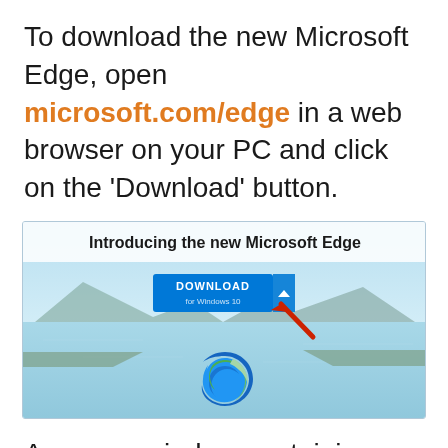To download the new Microsoft Edge, open microsoft.com/edge in a web browser on your PC and click on the 'Download' button.
[Figure (screenshot): Screenshot of microsoft.com/edge page showing 'Introducing the new Microsoft Edge' heading, a DOWNLOAD button for Windows 10 with a red arrow pointing to it, and the Microsoft Edge logo (swirl) against a scenic lake and mountain background.]
A pop-up window containing Microsoft software license terms will appear, read through and then click on 'Accept and